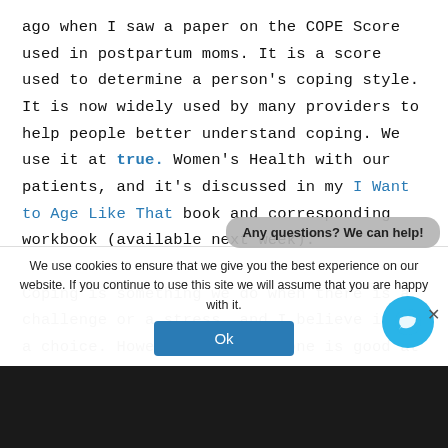ago when I saw a paper on the COPE Score used in postpartum moms. It is a score used to determine a person's coping style. It is now widely used by many providers to help people better understand coping. We use it at true. Women's Health with our patients, and it's discussed in my I Want to Age Like That book and corresponding workbook (available next week).
Coping is something we do when there is a challenge or a stress, and I believe it is a choice. However, not everyone is good at it, and I believe it can be learned. Some of us had good role models to teach us how to cope and some of us
We use cookies to ensure that we give you the best experience on our website. If you continue to use this site we will assume that you are happy with it.
Ok
Any questions? We can help!